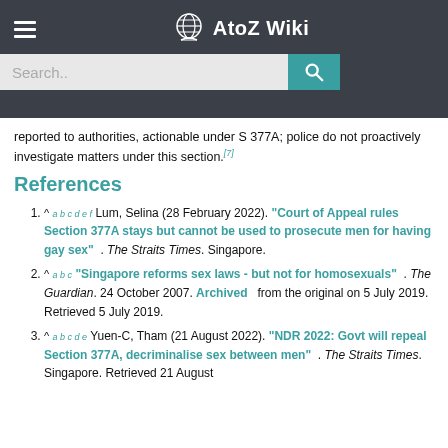AtoZ Wiki — navigation header with search bar
reported to authorities, actionable under S 377A; police do not proactively investigate matters under this section.[7]
References
^ a b c d e f Lum, Selina (28 February 2022). "Court of Appeal rules Section 377A stays but cannot be used to prosecute men for having gay sex" . The Straits Times. Singapore.
^ a b c "Singapore reforms sex laws - but not for homosexuals" . The Guardian. 24 October 2007. Archived from the original on 5 July 2019. Retrieved 5 July 2019.
^ a b c d e Yuen-C, Tham (21 August 2022). "NDR 2022: Govt will repeal Section 377A, decriminalise sex between men" . The Straits Times. Singapore. Retrieved 21 August